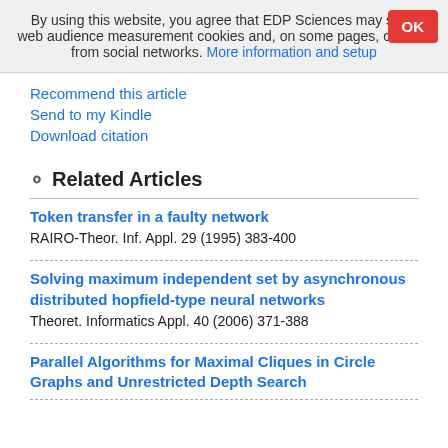By using this website, you agree that EDP Sciences may store web audience measurement cookies and, on some pages, cookies from social networks. More information and setup
Recommend this article
Send to my Kindle
Download citation
Related Articles
Token transfer in a faulty network
RAIRO-Theor. Inf. Appl. 29 (1995) 383-400
Solving maximum independent set by asynchronous distributed hopfield-type neural networks
Theoret. Informatics Appl. 40 (2006) 371-388
Parallel Algorithms for Maximal Cliques in Circle Graphs and Unrestricted Depth Search